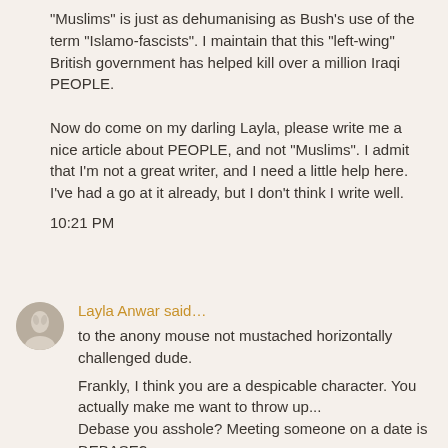"Muslims" is just as dehumanising as Bush's use of the term "Islamo-fascists". I maintain that this "left-wing" British government has helped kill over a million Iraqi PEOPLE.

Now do come on my darling Layla, please write me a nice article about PEOPLE, and not "Muslims". I admit that I'm not a great writer, and I need a little help here. I've had a go at it already, but I don't think I write well.

10:21 PM
Layla Anwar said…

to the anony mouse not mustached horizontally challenged dude.

Frankly, I think you are a despicable character. You actually make me want to throw up...
Debase you asshole? Meeting someone on a date is DEBASE?.
What a f...